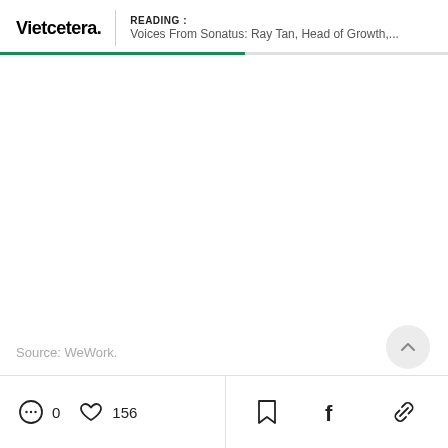READING : Voices From Sonatus: Ray Tan, Head of Growth,...
Source: WeWork.
0  156